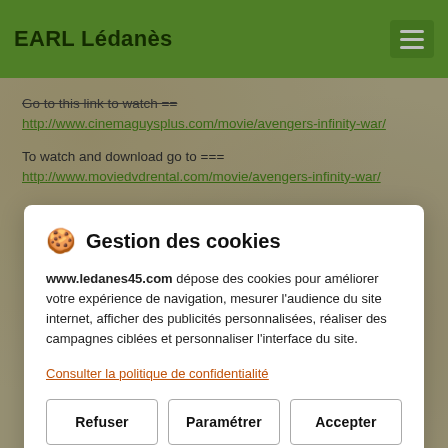EARL Lédanès
Go to this link to watch ==
http://www.cinemaguysplus.com/movie/avengers-infinity-war/
To watch and download go to ===
http://www.moviedvdrental.com/movie/avengers-infinity-war/
🍪 Gestion des cookies
www.ledanes45.com dépose des cookies pour améliorer votre expérience de navigation, mesurer l'audience du site internet, afficher des publicités personnalisées, réaliser des campagnes ciblées et personnaliser l'interface du site.
Consulter la politique de confidentialité
Refuser | Paramétrer | Accepter